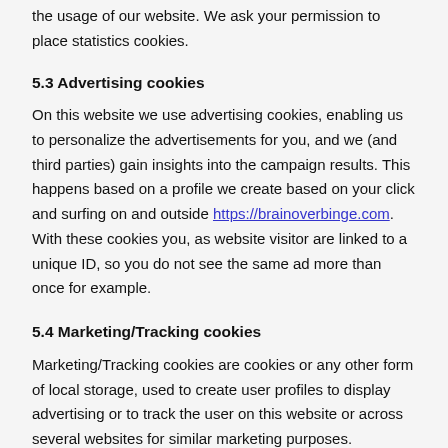the usage of our website. We ask your permission to place statistics cookies.
5.3 Advertising cookies
On this website we use advertising cookies, enabling us to personalize the advertisements for you, and we (and third parties) gain insights into the campaign results. This happens based on a profile we create based on your click and surfing on and outside https://brainoverbinge.com. With these cookies you, as website visitor are linked to a unique ID, so you do not see the same ad more than once for example.
5.4 Marketing/Tracking cookies
Marketing/Tracking cookies are cookies or any other form of local storage, used to create user profiles to display advertising or to track the user on this website or across several websites for similar marketing purposes.